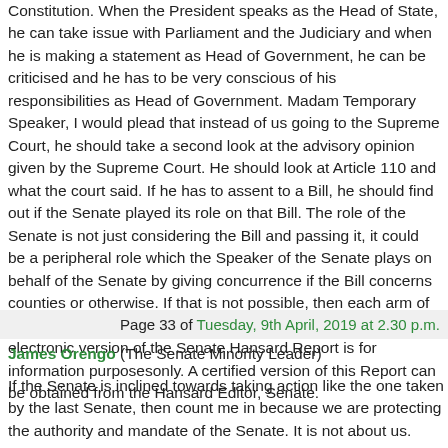Constitution. When the President speaks as the Head of State, he can take issue with Parliament and the Judiciary and when he is making a statement as Head of Government, he can be criticised and he has to be very conscious of his responsibilities as Head of Government. Madam Temporary Speaker, I would plead that instead of us going to the Supreme Court, he should take a second look at the advisory opinion given by the Supreme Court. He should look at Article 110 and what the court said. If he has to assent to a Bill, he should find out if the Senate played its role on that Bill. The role of the Senate is not just considering the Bill and passing it, it could be a peripheral role which the Speaker of the Senate plays on behalf of the Senate by giving concurrence if the Bill concerns counties or otherwise. If that is not possible, then each arm of Government must always fight to keep its territory. The electronic version of the Senate Hansard Report is for information purposesonly. A certified version of this Report can be obtained from the Hansard Editor, Senate.
Page 33 of Tuesday, 9th April, 2019 at 2.30 p.m.
James Orengo (The Senate Minority Leader)
If the Senate is inclined towards taking action like the one taken by the last Senate, then count me in because we are protecting the authority and mandate of the Senate. It is not about us. A100